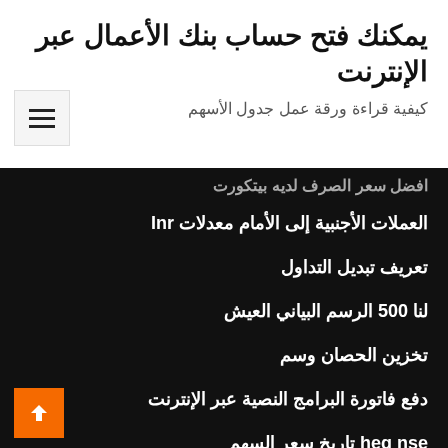يمكنك فتح حساب بنك الأعمال عبر الإنترنت
كيفية قراءة ورقة عمل جدول الأسهم
افضل سعر الصرف لديه بيتكورت
معدلات Inr العملات الأجنبية إلى الأمام
تعريف تبديل التداول
لنا 500 الرسم البياني العيش
تخزين الحصان وسم
دفع فاتورة البرامج النصية عبر الإنترنت
heg nse تاريخ سعر السهم
التحقق موني جرام على الانترنت
نموذج عقد الإفصاح